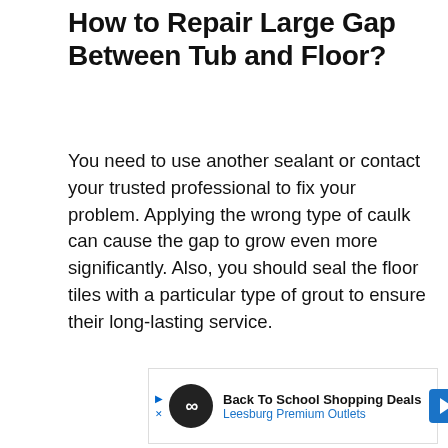How to Repair Large Gap Between Tub and Floor?
You need to use another sealant or contact your trusted professional to fix your problem. Applying the wrong type of caulk can cause the gap to grow even more significantly. Also, you should seal the floor tiles with a particular type of grout to ensure their long-lasting service.
[Figure (other): Advertisement banner: Back To School Shopping Deals - Leesburg Premium Outlets, with infinity logo and navigation arrow icon]